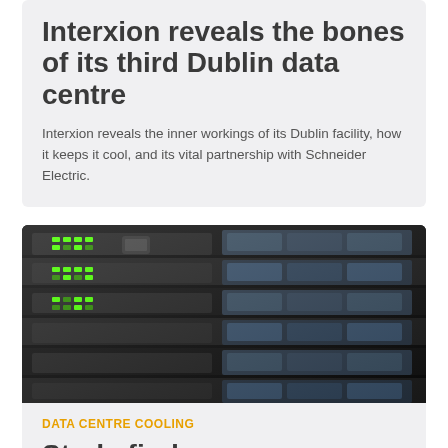Interxion reveals the bones of its third Dublin data centre
Interxion reveals the inner workings of its Dublin facility, how it keeps it cool, and its vital partnership with Schneider Electric.
[Figure (photo): Close-up photo of server rack hardware with green LED lights and blue indicator light, showing dark metal server chassis units stacked in a rack]
DATA CENTRE COOLING
Study finds